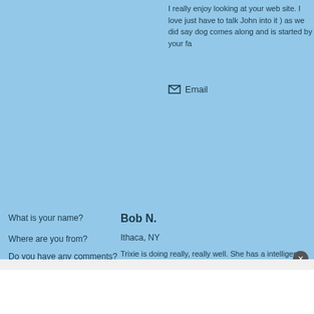I really enjoy looking at your web site. I love just have to talk John into it ) as we did say dog comes along and is started by your fa...
✉ Email
What is your name?
Bob N.
Where are you from?
Ithaca, NY
Do you have any comments?
Trixie is doing really, really well. She has a intelligent. Anyone and everyone who see h her coloring. At 4 months and a week, she\ be maxing out there. Anyway, our family lov and your family. I have a feeling we\'ll be pa get her a companion, but for now she\'s go company. Happy Mother\'s Day!
The Novicks